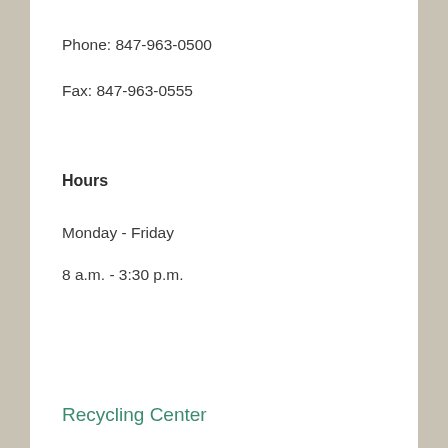Phone: 847-963-0500
Fax: 847-963-0555
Hours
Monday - Friday
8 a.m. - 3:30 p.m.
Recycling Center
3200 Central Road